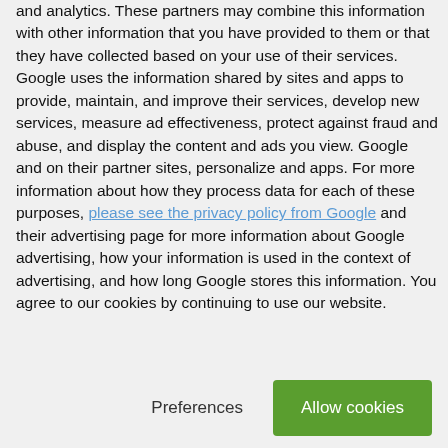and analytics. These partners may combine this information with other information that you have provided to them or that they have collected based on your use of their services. Google uses the information shared by sites and apps to provide, maintain, and improve their services, develop new services, measure ad effectiveness, protect against fraud and abuse, and display the content and ads you view. Google and on their partner sites, personalize and apps. For more information about how they process data for each of these purposes, please see the privacy policy from Google and their advertising page for more information about Google advertising, how your information is used in the context of advertising, and how long Google stores this information. You agree to our cookies by continuing to use our website.
Preferences
Allow cookies